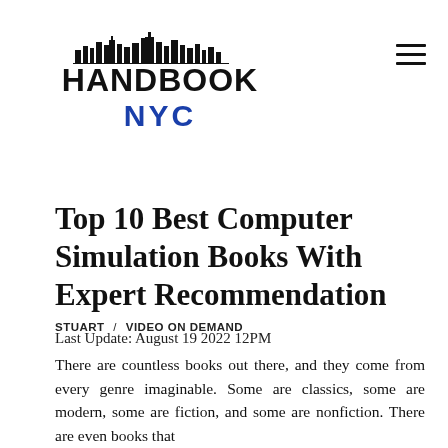[Figure (logo): Handbook NYC logo with city skyline silhouette above bold text HANDBOOK and NYC in blue]
Top 10 Best Computer Simulation Books With Expert Recommendation
STUART / VIDEO ON DEMAND
Last Update: August 19 2022 12PM
There are countless books out there, and they come from every genre imaginable. Some are classics, some are modern, some are fiction, and some are nonfiction. There are even books that